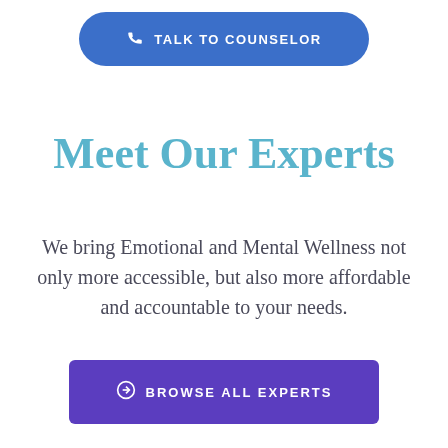[Figure (other): Blue rounded button with phone icon and text TALK TO COUNSELOR]
Meet Our Experts
We bring Emotional and Mental Wellness not only more accessible, but also more affordable and accountable to your needs.
[Figure (other): Purple rectangular button with circle-arrow icon and text BROWSE ALL EXPERTS]